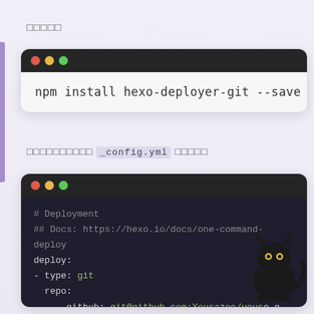□□□□□
[Figure (screenshot): Terminal window with dark title bar (traffic light buttons) and light body showing command: npm install hexo-deployer-git --save]
□□□□□□□□□□ _config.yml □□□□□
[Figure (screenshot): Terminal/code window with dark theme showing YAML config: # Deployment, ## Docs: https://hexo.io/docs/one-command-deploy, deploy:, - type: git, repo:, github: git@github.com:Yousazoe/yous...e.g, coding: git@e.coding.net:yousazoe/...oe, branch: master. A black cat illustration overlaps bottom-right.]